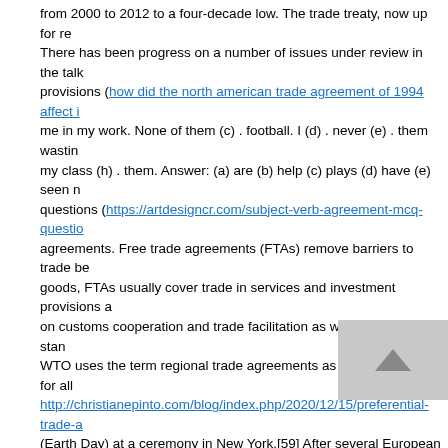from 2000 to 2012 to a four-decade low. The trade treaty, now up for re... There has been progress on a number of issues under review in the talk... provisions (how did the north american trade agreement of 1994 affect i... me in my work. None of them (c) . football. I (d) . never (e) . them wastin... my class (h) . them. Answer: (a) are (b) help (c) plays (d) have (e) seen ... questions (https://artdesigncr.com/subject-verb-agreement-mcq-questio... agreements. Free trade agreements (FTAs) remove barriers to trade be... goods, FTAs usually cover trade in services and investment provisions a... on customs cooperation and trade facilitation as well as harmonise stan... WTO uses the term regional trade agreements as a generic name for al... http://christianepinto.com/blog/index.php/2020/12/15/preferential-trade-a... (Earth Day) at a ceremony in New York.[59] After several European Uni... agreement that produce enough of the world's greenhouse gases for the... August 2017, the Trump administration delivered an official notice to the... eligible to do so.[79] The formal notice of withdrawal could not be submi... November 2019, the US government deposited the withdrawal notificatio... withdrew from the Paris climate accord one year later when the withdra... bring the United States back into the Paris Agreement on his first day in... from the Intergovernmental Panel on Climate Change (IPCC) a carbon ... emission) to limit global warming to 1.5 C was estimated to be 2.25 trill... renewable energy. . Resultados: 595. Exactos: 595. Tiempo de respues... reprendre mes traductions dans l'entraneur de vocabulaire? Voulez-vou...